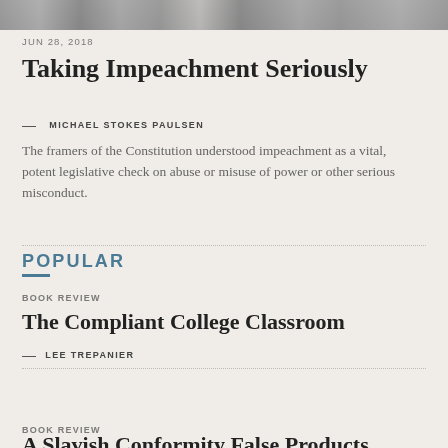[Figure (photo): Partial black and white photograph strip at top of page]
JUN 28, 2018
Taking Impeachment Seriously
— MICHAEL STOKES PAULSEN
The framers of the Constitution understood impeachment as a vital, potent legislative check on abuse or misuse of power or other serious misconduct.
POPULAR
BOOK REVIEW
The Compliant College Classroom
— LEE TREPANIER
BOOK REVIEW
A Slavish Conformity False Products...